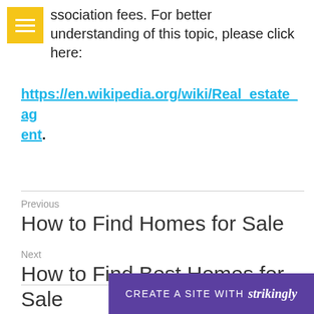association fees. For better understanding of this topic, please click here:
https://en.wikipedia.org/wiki/Real_estate_agent.
Previous
How to Find Homes for Sale
Next
How to Find Best Homes for Sale
CREATE A SITE WITH strikingly